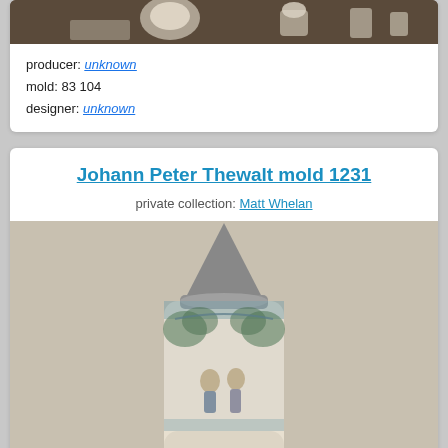[Figure (photo): Photo of ceramic figurines/collectibles on a dark brown background, partially visible at top of card]
producer: unknown
mold: 83 104
designer: unknown
Johann Peter Thewalt mold 1231
private collection: Matt Whelan
[Figure (photo): Photo of a German ceramic beer stein with a pointed pewter lid, decorated with a blue-grey etched scenic design showing figures in a landscape, on a light grey/beige background]